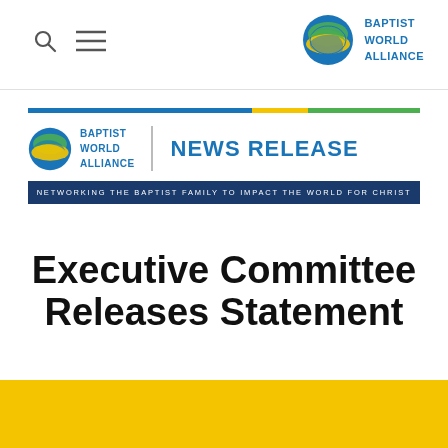Baptist World Alliance navigation bar with search and menu icons
[Figure (logo): Baptist World Alliance globe logo with blue, green, and yellow stripes, with text BAPTIST WORLD ALLIANCE in blue]
[Figure (logo): Baptist World Alliance News Release header with globe logo and tagline NETWORKING THE BAPTIST FAMILY TO IMPACT THE WORLD FOR CHRIST]
Executive Committee Releases Statement